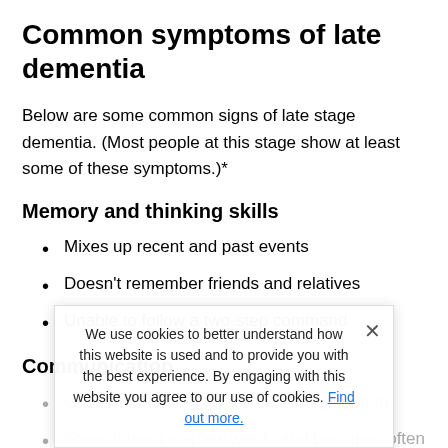Common symptoms of late dementia
Below are some common signs of late stage dementia. (Most people at this stage show at least some of these symptoms.)*
Memory and thinking skills
Mixes up recent and past events
Doesn’t remember friends and relatives
Unable to follow a two-step command
Communication
Cannot carry on a meaningful conversation
Speech used is a few words and becomes often disconnected.
We use cookies to better understand how this website is used and to provide you with the best experience. By engaging with this website you agree to our use of cookies. Find out more.